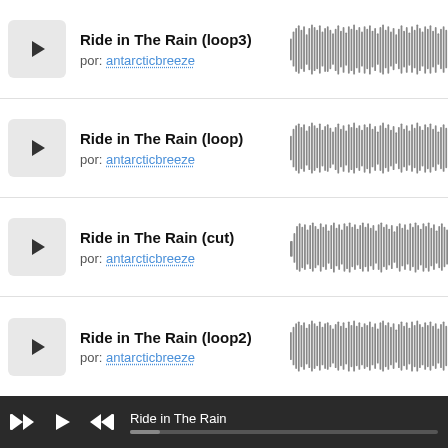[Figure (other): Audio track listing with waveforms for 'Ride in The Rain' variations (loop3, loop, cut, loop2) by antarcticbreeze, with play buttons and waveform visualizations]
Ride in The Rain — player bar with rewind, play, fast-forward controls